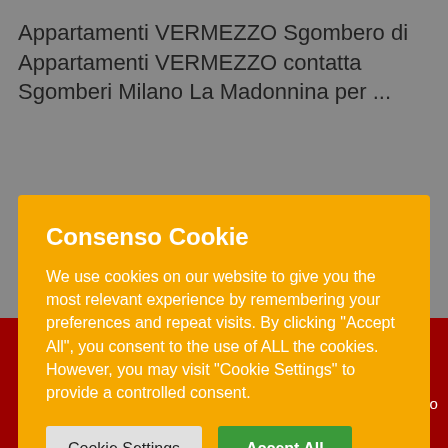Appartamenti VERMEZZO Sgombero di Appartamenti VERMEZZO contatta Sgomberi Milano La Madonnina per ...
Consenso Cookie
We use cookies on our website to give you the most relevant experience by remembering your preferences and repeat visits. By clicking "Accept All", you consent to the use of ALL the cookies. However, you may visit "Cookie Settings" to provide a controlled consent.
Cookie Settings
Accept All
per SGOMBERO CAPANNONI VERMEZZO
Chiama Ora
Whatsapp
Preventivo Gratuito